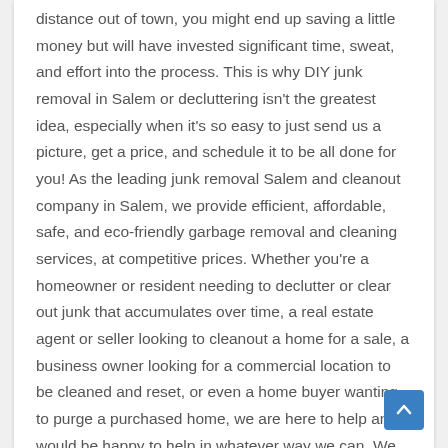distance out of town, you might end up saving a little money but will have invested significant time, sweat, and effort into the process. This is why DIY junk removal in Salem or decluttering isn't the greatest idea, especially when it's so easy to just send us a picture, get a price, and schedule it to be all done for you! As the leading junk removal Salem and cleanout company in Salem, we provide efficient, affordable, safe, and eco-friendly garbage removal and cleaning services, at competitive prices. Whether you're a homeowner or resident needing to declutter or clear out junk that accumulates over time, a real estate agent or seller looking to cleanout a home for a sale, a business owner looking for a commercial location to be cleaned and reset, or even a home buyer wanting to purge a purchased home, we are here to help and would be happy to help in whatever way we can. We bring you Peace of Mind when it's hard to find!